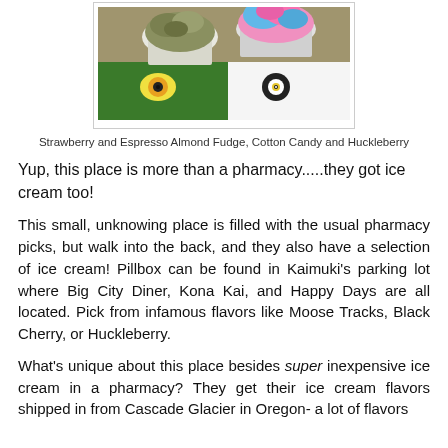[Figure (photo): Two cups of ice cream on a surface with colorful cartoon character placemats — one with green monster eyes, one with panda face. Left cup contains earthy/green-colored ice cream, right cup has pink and blue cotton candy colored ice cream.]
Strawberry and Espresso Almond Fudge, Cotton Candy and Huckleberry
Yup, this place is more than a pharmacy.....they got ice cream too!
This small, unknowing place is filled with the usual pharmacy picks, but walk into the back, and they also have a selection of ice cream! Pillbox can be found in Kaimuki's parking lot where Big City Diner, Kona Kai, and Happy Days are all located. Pick from infamous flavors like Moose Tracks, Black Cherry, or Huckleberry.
What's unique about this place besides super inexpensive ice cream in a pharmacy? They get their ice cream flavors shipped in from Cascade Glacier in Oregon- a lot of flavors